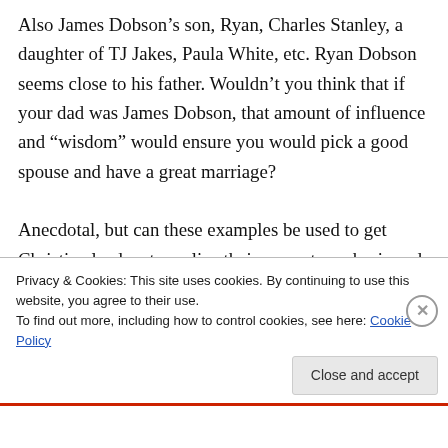Also James Dobson’s son, Ryan, Charles Stanley, a daughter of TJ Jakes, Paula White, etc. Ryan Dobson seems close to his father. Wouldn’t you think that if your dad was James Dobson, that amount of influence and “wisdom” would ensure you would pick a good spouse and have a great marriage?

Anecdotal, but can these examples be used to get Christian leaders to realize their current emphasis and teachings on marriage, wife and
Privacy & Cookies: This site uses cookies. By continuing to use this website, you agree to their use.
To find out more, including how to control cookies, see here: Cookie Policy